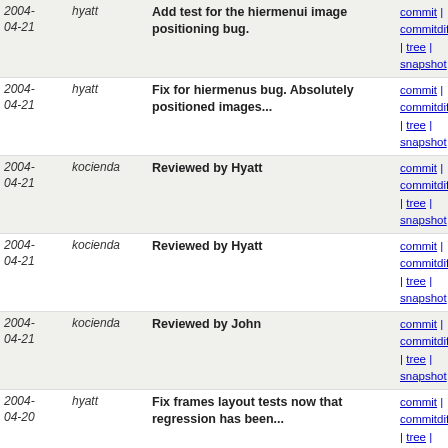| Date | Author | Message | Links |
| --- | --- | --- | --- |
| 2004-04-21 | hyatt | Add test for the hiermenui image positioning bug. | commit | commitdiff | tree | snapshot |
| 2004-04-21 | hyatt | Fix for hiermenus bug. Absolutely positioned images... | commit | commitdiff | tree | snapshot |
| 2004-04-21 | kocienda | Reviewed by Hyatt | commit | commitdiff | tree | snapshot |
| 2004-04-21 | kocienda | Reviewed by Hyatt | commit | commitdiff | tree | snapshot |
| 2004-04-21 | kocienda | Reviewed by John | commit | commitdiff | tree | snapshot |
| 2004-04-20 | hyatt | Fix frames layout tests now that regression has been... | commit | commitdiff | tree | snapshot |
| 2004-04-20 | cblu | Fixed: <rdar://problem/3605209>: "HITLIST: REGRESSION... | commit | commitdiff | tree | snapshot |
| 2004-04-20 | kocienda | Reviewed by Hyatt | commit | commitdiff | tree | snapshot |
| 2004-04-20 | kocienda | WebCore: | commit | commitdiff | tree | snapshot |
| 2004-04-20 | sullivan | WebKit: | commit | commitdiff | tree | snapshot |
| 2004-04-20 | kocienda | WebCore: | commit | commitdiff | tree | snapshot |